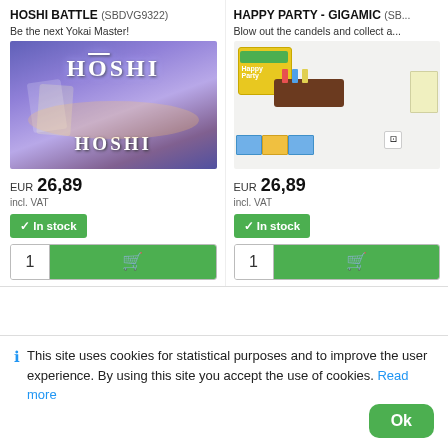HOSHI BATTLE (SBDVG9322)
Be the next Yokai Master!
[Figure (photo): Hoshi Battle board game product image showing purple/blue packaging with HOSHI text and anime characters]
EUR 26,89
incl. VAT
✓ In stock
HAPPY PARTY - GIGAMIC (SB...
Blow out the candels and collect a...
[Figure (photo): Happy Party Gigamic board game product image showing colorful birthday cake game set with candles, dice, and cards]
EUR 26,89
incl. VAT
✓ In stock
This site uses cookies for statistical purposes and to improve the user experience. By using this site you accept the use of cookies. Read more